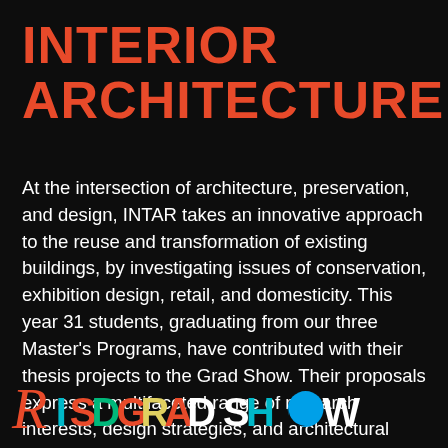INTERIOR ARCHITECTURE
At the intersection of architecture, preservation, and design, INTAR takes an innovative approach to the reuse and transformation of existing buildings, by investigating issues of conservation, exhibition design, retail, and domesticity. This year 31 students, graduating from our three Master's Programs, have contributed with their thesis projects to the Grad Show. Their proposals express a multifaceted range of research interests, design strategies, and architectural
[Figure (logo): RISD Grad Show logo in colorful decorative lettering on black background]